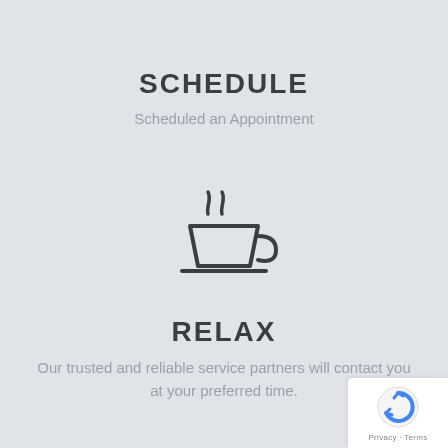SCHEDULE
Scheduled an Appointment
[Figure (illustration): Coffee cup icon with steam rising, outline style, dark gray]
RELAX
Our trusted and reliable service partners will contact you at your preferred time.
[Figure (logo): reCAPTCHA badge with Privacy and Terms links]